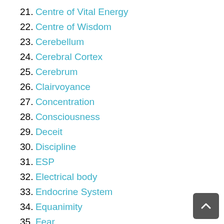21. Centre of Vital Energy
22. Centre of Wisdom
23. Cerebellum
24. Cerebral Cortex
25. Cerebrum
26. Clairvoyance
27. Concentration
28. Consciousness
29. Deceit
30. Discipline
31. ESP
32. Electrical body
33. Endocrine System
34. Equanimity
35. Fear
36. Gonads
37. Greed
38. Hypothalamus
39. Internal Trip